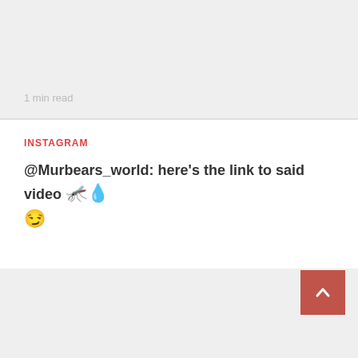1 min read
INSTAGRAM
@Murbears_world: here's the link to said video 🦋💙😏